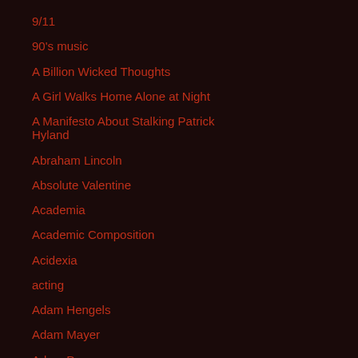9/11
90's music
A Billion Wicked Thoughts
A Girl Walks Home Alone at Night
A Manifesto About Stalking Patrick Hyland
Abraham Lincoln
Absolute Valentine
Academia
Academic Composition
Acidexia
acting
Adam Hengels
Adam Mayer
Adam Papagan